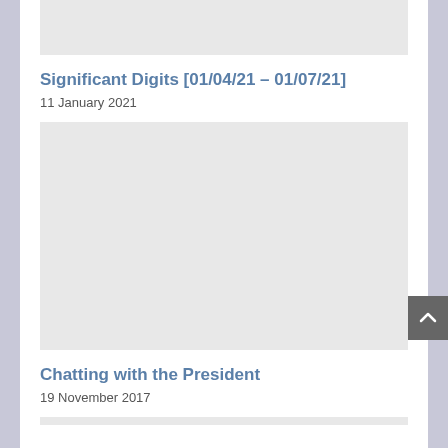[Figure (photo): Placeholder image (light gray) at top of page]
Significant Digits [01/04/21 – 01/07/21]
11 January 2021
[Figure (photo): Placeholder image (light gray) for second article]
Chatting with the President
19 November 2017